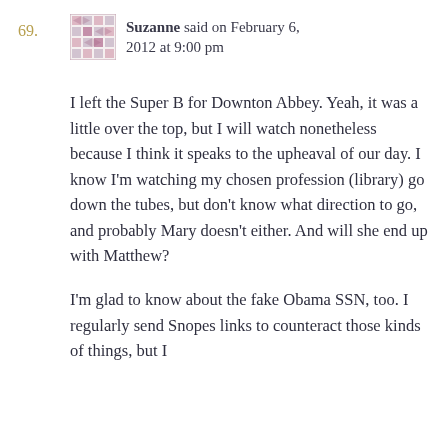69.
Suzanne said on February 6, 2012 at 9:00 pm
I left the Super B for Downton Abbey. Yeah, it was a little over the top, but I will watch nonetheless because I think it speaks to the upheaval of our day. I know I'm watching my chosen profession (library) go down the tubes, but don't know what direction to go, and probably Mary doesn't either. And will she end up with Matthew?
I'm glad to know about the fake Obama SSN, too. I regularly send Snopes links to counteract those kinds of things, but I